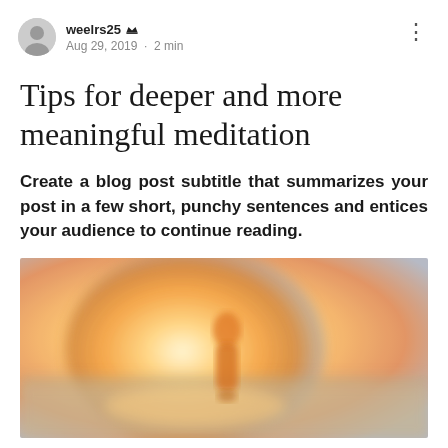weelrs25 · Aug 29, 2019 · 2 min
Tips for deeper and more meaningful meditation
Create a blog post subtitle that summarizes your post in a few short, punchy sentences and entices your audience to continue reading.
[Figure (photo): Blurred photo of a person in orange/red clothing standing at sunset near water, with warm golden light behind them. The image is heavily blurred giving a dreamy meditation feel.]